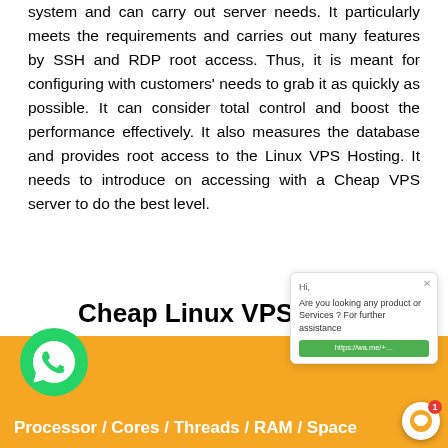system and can carry out server needs. It particularly meets the requirements and carries out many features by SSH and RDP root access. Thus, it is meant for configuring with customers' needs to grab it as quickly as possible. It can consider total control and boost the performance effectively. It also measures the database and provides root access to the Linux VPS Hosting. It needs to introduce on accessing with a Cheap VPS server to do the best level.
Cheap Linux VPS Plans
[Figure (infographic): Orange banner at bottom with WhatsApp icon on left and text 'Processor / Cores / Threads / RAM / Space' in white bold font. A chat popup is visible on the right side with a green link button. A chat bubble button is in the bottom right corner with a red badge showing '1'.]